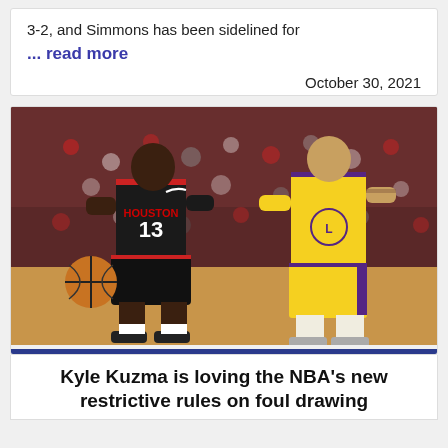3-2, and Simmons has been sidelined for
... read more
October 30, 2021
[Figure (photo): NBA basketball game photo showing a Houston Rockets player wearing number 13 dribbling the ball, defended by a Los Angeles Lakers player in yellow and purple uniform, with a crowded arena in the background.]
Kyle Kuzma is loving the NBA's new restrictive rules on foul drawing